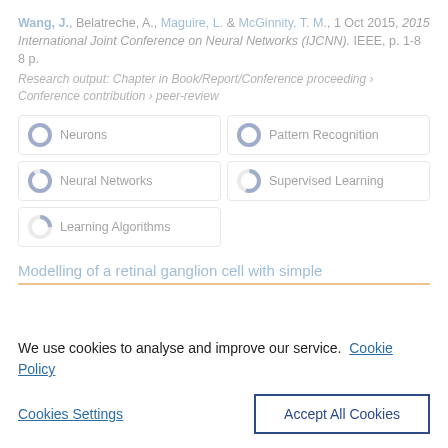Wang, J., Belatreche, A., Maguire, L. & McGinnity, T. M., 1 Oct 2015, 2015 International Joint Conference on Neural Networks (IJCNN). IEEE, p. 1-8 8 p.
Research output: Chapter in Book/Report/Conference proceeding › Conference contribution › peer-review
[Figure (infographic): Five keyword badge items with donut-style percentage icons: Neurons (100%), Pattern Recognition (100%), Neural Networks (~90%), Supervised Learning (~55%), Learning Algorithms (~25%)]
Modelling of a retinal ganglion cell with simple
We use cookies to analyse and improve our service. Cookie Policy
Cookies Settings
Accept All Cookies